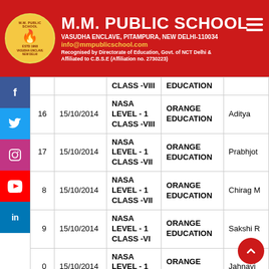M.M. PUBLIC SCHOOL — VASUDHA ENCLAVE, PITAMPURA, NEW DELHI-110034 — info@mmpublicschool.com — Recognised by Directorate of Education, Govt. of NCT Delhi & Affiliated to C.B.S.E (Affiliation no. 2730223)
| # | Date | Event | Organisation | Name |
| --- | --- | --- | --- | --- |
|  |  | CLASS -VIII | EDUCATION |  |
| 16 | 15/10/2014 | NASA LEVEL - 1 CLASS -VIII | ORANGE EDUCATION | Aditya |
| 17 | 15/10/2014 | NASA LEVEL - 1 CLASS -VII | ORANGE EDUCATION | Prabhjot |
| 18 | 15/10/2014 | NASA LEVEL - 1 CLASS -VII | ORANGE EDUCATION | Chirag M |
| 19 | 15/10/2014 | NASA LEVEL - 1 CLASS -VI | ORANGE EDUCATION | Sakshi R |
| 20 | 15/10/2014 | NASA LEVEL - 1 CLASS -VI | ORANGE EDUCATION | Jahnavi |
| 21 | 15/10/2014 | NASA LEVEL - 1 CLASS -VI | ORANGE EDUCATION | Sanja |